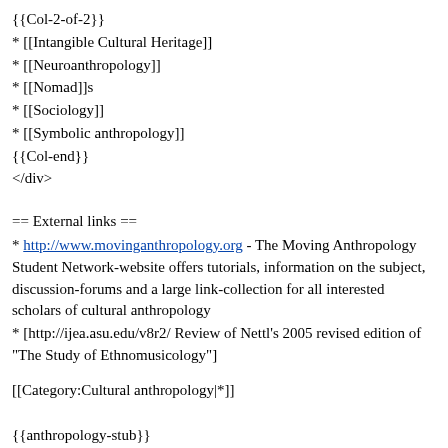{{Col-2-of-2}}
* [[Intangible Cultural Heritage]]
* [[Neuroanthropology]]
* [[Nomad]]s
* [[Sociology]]
* [[Symbolic anthropology]]
{{Col-end}}
</div>
== External links ==
* http://www.movinganthropology.org - The Moving Anthropology Student Network-website offers tutorials, information on the subject, discussion-forums and a large link-collection for all interested scholars of cultural anthropology
* [http://ijea.asu.edu/v8r2/ Review of Nettl's 2005 revised edition of "The Study of Ethnomusicology"]
[[Category:Cultural anthropology|*]]
{{anthropology-stub}}
[[ar:علم الإنسان الثقافي]]
[[gn:Avakuaaty tembiapoguigua]]
[[be-x-old:Культурная антрапалёгія]]
[[b:Kulturalna antropoloji]]